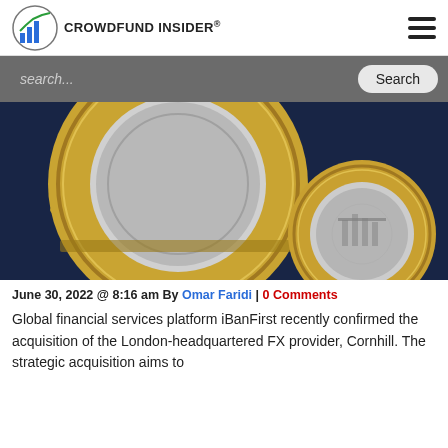CROWDFUND INSIDER
[Figure (photo): Close-up photograph of two British pound coins on a dark blue surface]
June 30, 2022 @ 8:16 am By Omar Faridi | 0 Comments
Global financial services platform iBanFirst recently confirmed the acquisition of the London-headquartered FX provider, Cornhill. The strategic acquisition aims to